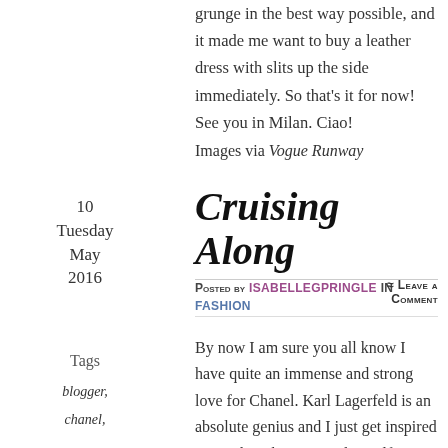grunge in the best way possible, and it made me want to buy a leather dress with slits up the side immediately. So that's it for now! See you in Milan. Ciao!
Images via Vogue Runway
10
Tuesday
May
2016
Cruising Along
Posted by ISABELLEGPRINGLE in FASHION   ≈ Leave a comment
Tags
blogger,
chanel,
By now I am sure you all know I have quite an immense and strong love for Chanel. Karl Lagerfeld is an absolute genius and I just get inspired seeing how he inspires himself as each season continues on. This Cruise 2017 collection was no different. It was superb! As I not pay